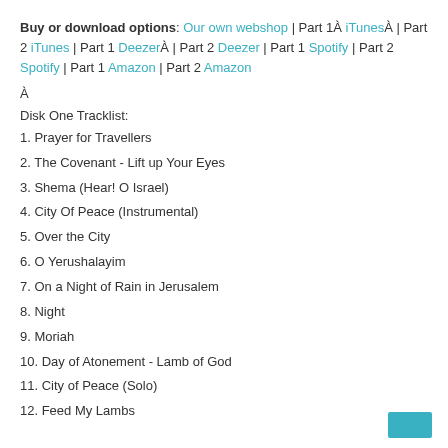Buy or download options: Our own webshop | Part 1Â iTunesÂ | Part 2 iTunes | Part 1 DeezerÂ | Part 2 Deezer | Part 1 Spotify | Part 2 Spotify | Part 1 Amazon | Part 2 Amazon
Â
Disk One Tracklist:
1. Prayer for Travellers
2. The Covenant - Lift up Your Eyes
3. Shema (Hear! O Israel)
4. City Of Peace (Instrumental)
5. Over the City
6. O Yerushalayim
7. On a Night of Rain in Jerusalem
8. Night
9. Moriah
10. Day of Atonement - Lamb of God
11. City of Peace (Solo)
12. Feed My Lambs